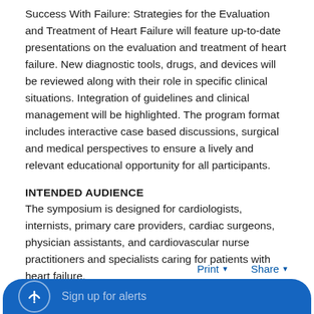Success With Failure: Strategies for the Evaluation and Treatment of Heart Failure will feature up-to-date presentations on the evaluation and treatment of heart failure. New diagnostic tools, drugs, and devices will be reviewed along with their role in specific clinical situations. Integration of guidelines and clinical management will be highlighted. The program format includes interactive case based discussions, surgical and medical perspectives to ensure a lively and relevant educational opportunity for all participants.
INTENDED AUDIENCE
The symposium is designed for cardiologists, internists, primary care providers, cardiac surgeons, physician assistants, and cardiovascular nurse practitioners and specialists caring for patients with heart failure.
Print ▾   Share ▾
Sign up for alerts